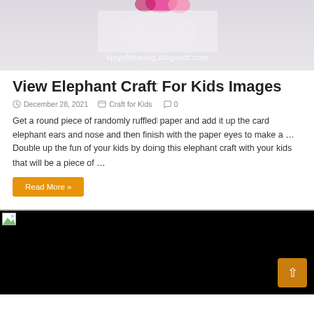[Figure (photo): Top portion of a craft image showing paper elephant craft with pink decorative elements and a watermark reading '4joyofsharing.blogspot.com']
View Elephant Craft For Kids Images
December 28, 2021   Craft for Kids   0
Get a round piece of randomly ruffled paper and add it up the card elephant ears and nose and then finish with the paper eyes to make a … Double up the fun of your kids by doing this elephant craft with your kids that will be a piece of …
Read More »
[Figure (photo): Black image area with a small broken image placeholder icon in the top left corner and an orange scroll-to-top button in the bottom right corner]